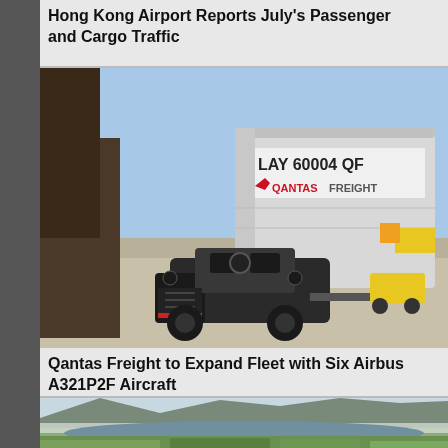Hong Kong Airport Reports July's Passenger and Cargo Traffic
[Figure (photo): A ground support vehicle (tug/tractor) on an airport tarmac towing a Qantas Freight cargo container marked 'LAY 60004 QF'. The container displays the Qantas Freight logo. Airport infrastructure and other vehicles visible in the background under a blue sky.]
Qantas Freight to Expand Fleet with Six Airbus A321P2F Aircraft
[Figure (photo): Aerial landscape photograph showing green rolling hills, a bay or lake in the middle distance, and mountains in the background under a hazy sky.]